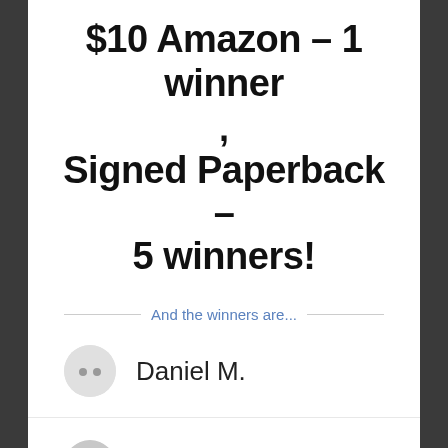$10 Amazon – 1 winner
,
Signed Paperback – 5 winners!
And the winners are...
Daniel M.
Sherry B.